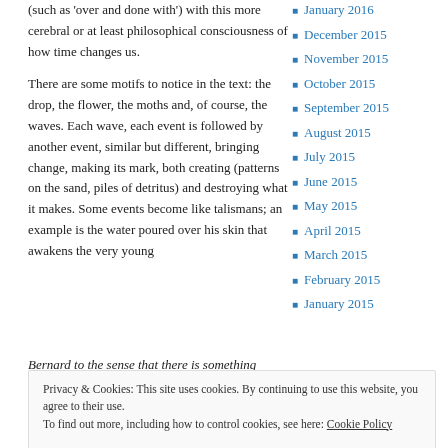(such as 'over and done with') with this more cerebral or at least philosophical consciousness of how time changes us.
There are some motifs to notice in the text: the drop, the flower, the moths and, of course, the waves. Each wave, each event is followed by another event, similar but different, bringing change, making its mark, both creating (patterns on the sand, piles of detritus) and destroying what it makes. Some events become like talismans; an example is the water poured over his skin that awakens the very young
Bernard to the sense that there is something
January 2016
December 2015
November 2015
October 2015
September 2015
August 2015
July 2015
June 2015
May 2015
April 2015
March 2015
February 2015
January 2015
Privacy & Cookies: This site uses cookies. By continuing to use this website, you agree to their use.
To find out more, including how to control cookies, see here: Cookie Policy
Close and accept
a
July 2014